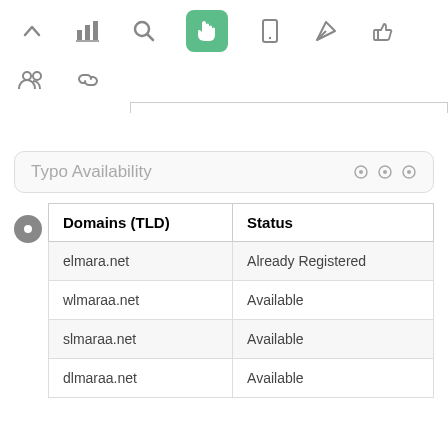[Figure (screenshot): Top navigation toolbar with icons: up arrow, bar chart, search, hand/cursor (active, green background), mobile phone, send/rocket, thumbs up, people/group, link]
| Domains (TLD) | Status |
| --- | --- |
| elmara.net | Already Registered |
| wlmaraa.net | Available |
| slmaraa.net | Available |
| dlmaraa.net | Available |